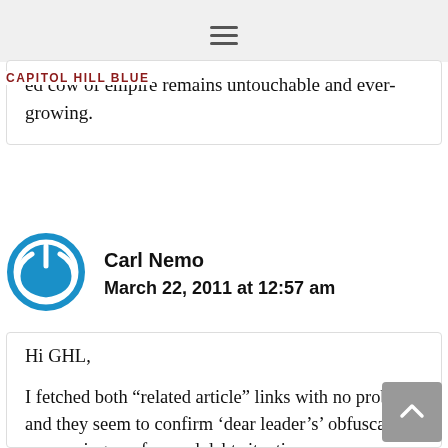[Figure (other): Hamburger menu icon (three horizontal lines) on a light gray background]
CAPITOL HILL BLUE
ed cow of empire remains untouchable and ever-growing.
[Figure (logo): Circular power-button style avatar icon in blue for user Carl Nemo]
Carl Nemo
March 22, 2011 at 12:57 am
Hi GHL,
I fetched both “related article” links with no problem and they seem to confirm ‘dear leader’s’ obfuscation concerning our forward debt situation,
Maybe exact figures might not come together; but